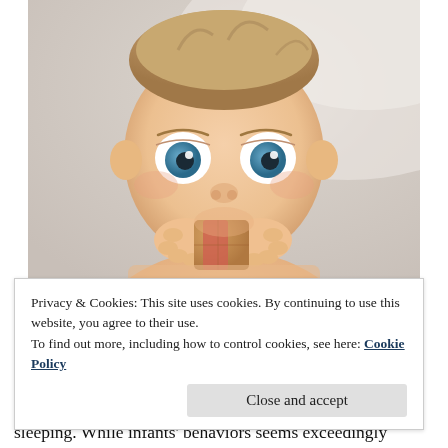[Figure (photo): Close-up photo of a baby with blue eyes chewing on a wooden toy block, photographed against a light blurred background]
Privacy & Cookies: This site uses cookies. By continuing to use this website, you agree to their use.
To find out more, including how to control cookies, see here: Cookie Policy
Close and accept
sleeping. While infants' behaviors seems exceedingly